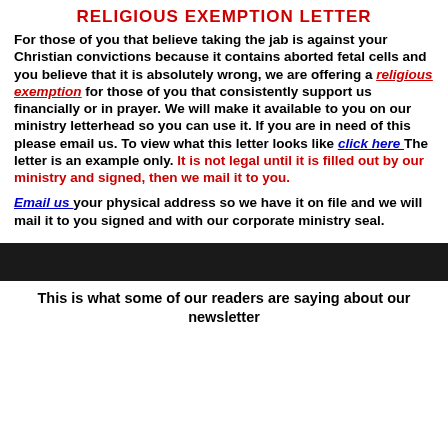RELIGIOUS EXEMPTION LETTER
For those of you that believe taking the jab is against your Christian convictions because it contains aborted fetal cells and you believe that it is absolutely wrong, we are offering a religious exemption for those of you that consistently support us financially or in prayer. We will make it available to you on our ministry letterhead so you can use it. If you are in need of this please email us. To view what this letter looks like click here The letter is an example only. It is not legal until it is filled out by our ministry and signed, then we mail it to you.
Email us your physical address so we have it on file and we will mail it to you signed and with our corporate ministry seal.
This is what some of our readers are saying about our newsletter